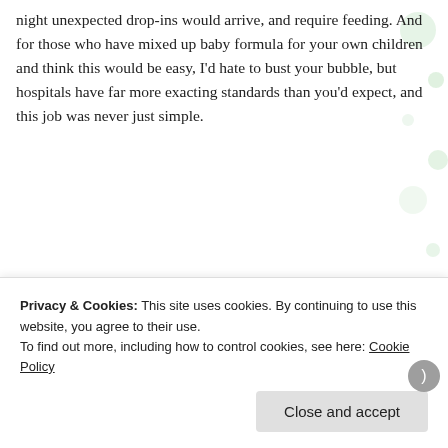night unexpected drop-ins would arrive, and require feeding. And for those who have mixed up baby formula for your own children and think this would be easy, I'd hate to bust your bubble, but hospitals have far more exacting standards than you'd expect, and this job was never just simple.
[Figure (photo): A broken/missing image placeholder with alt text: 'The great catalogue of formula. More cans were kept under the counter.']
Privacy & Cookies: This site uses cookies. By continuing to use this website, you agree to their use.
To find out more, including how to control cookies, see here: Cookie Policy
Close and accept
AIRPORT-1145-AS